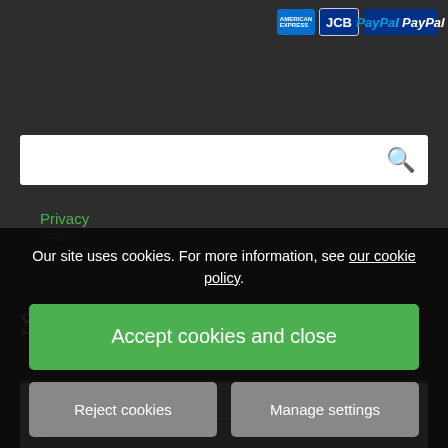[Figure (logo): Payment logos: American Express, JCB, PayPal]
Privacy Policy
[Figure (screenshot): Search bar with magnifying glass icon]
Sign up to our Newsletter
Name: *
Our site uses cookies. For more information, see our cookie policy.
Accept cookies and close
Reject cookies
Manage settings
Email: *
Please confirm: